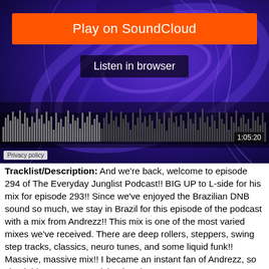[Figure (screenshot): SoundCloud embedded player showing a DJ/music artwork background with blue and purple swirling abstract design. Contains an orange 'Play on SoundCloud' button, a 'Listen in browser' button, a waveform visualization, and a duration timer showing 1:05:20. A 'Privacy policy' label is visible in the bottom left corner of the player.]
Tracklist/Description: And we're back, welcome to episode 294 of The Everyday Junglist Podcast!! BIG UP to L-side for his mix for episode 293!! Since we've enjoyed the Brazilian DNB sound so much, we stay in Brazil for this episode of the podcast with a mix from Andrezz!! This mix is one of the most varied mixes we've received. There are deep rollers, steppers, swing step tracks, classics, neuro tunes, and some liquid funk!! Massive, massive mix!! I became an instant fan of Andrezz, so check him out on Soundcloud and support...